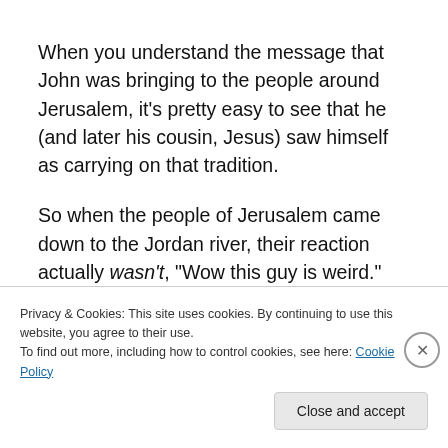When you understand the message that John was bringing to the people around Jerusalem, it's pretty easy to see that he (and later his cousin, Jesus) saw himself as carrying on that tradition.
So when the people of Jerusalem came down to the Jordan river, their reaction actually wasn't, “Wow this guy is weird.” Rather it was more like, “Wow, there’s a
Privacy & Cookies: This site uses cookies. By continuing to use this website, you agree to their use.
To find out more, including how to control cookies, see here: Cookie Policy